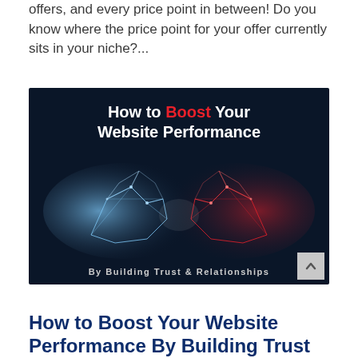offers, and every price point in between! Do you know where the price point for your offer currently sits in your niche?...
[Figure (illustration): Dark blue background banner image showing two geometric/polygonal hands shaking — one blue/white and one red/dark — with text overlay reading 'How to Boost Your Website Performance By Building Trust & Relationships']
How to Boost Your Website Performance By Building Trust